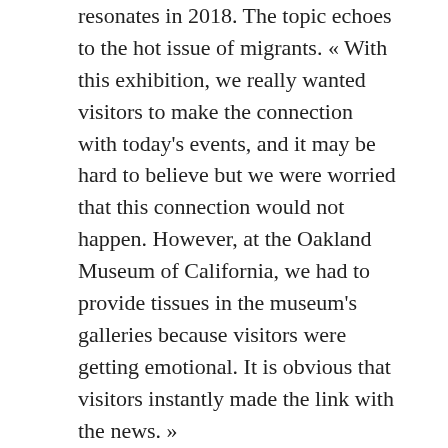resonates in 2018. The topic echoes to the hot issue of migrants. « With this exhibition, we really wanted visitors to make the connection with today's events, and it may be hard to believe but we were worried that this connection would not happen. However, at the Oakland Museum of California, we had to provide tissues in the museum's galleries because visitors were getting emotional. It is obvious that visitors instantly made the link with the news. »
That is why it is time to look beyond the iconic photograph « Migrant Mother, Nipomo, California », 1936, with which Dorothea Lange's name remains associated. Ironically, this photography does not show the range of...